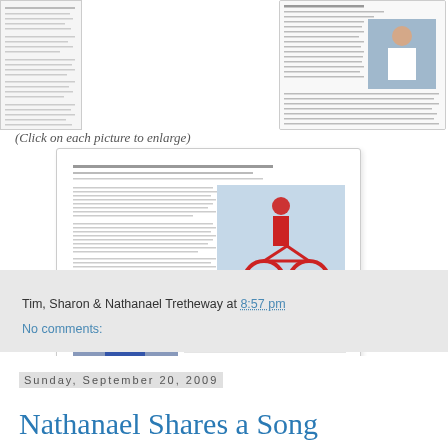[Figure (screenshot): Partial view of a newspaper/article screenshot on the left edge]
[Figure (screenshot): Screenshot of a newspaper article page with a photo of a man in white shirt on right side]
(Click on each picture to enlarge)
[Figure (screenshot): Screenshot of an article page showing text columns, a photo of a person in red gear on a bicycle, and a photo of a man in blue jacket]
Tim, Sharon & Nathanael Tretheway at 8:57 pm
No comments:
Sunday, September 20, 2009
Nathanael Shares a Song